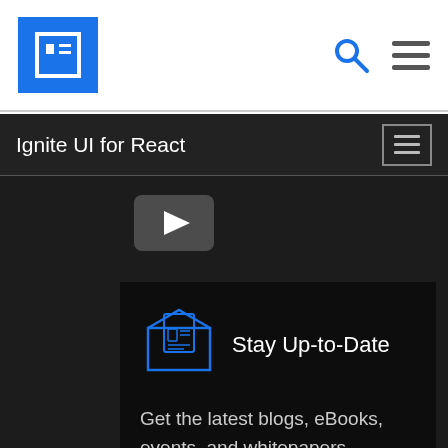Ignite UI for React — Navigation header with logo, search and menu
Ignite UI for React
[Figure (screenshot): YouTube play button icon in dark gray]
[Figure (illustration): Blue outline envelope icon with newsletter/document inside]
Stay Up-to-Date
Get the latest blogs, eBooks, events, and whitepapers.
SIGN ME UP!